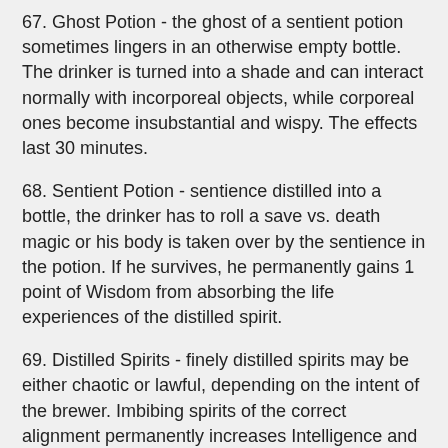67. Ghost Potion - the ghost of a sentient potion sometimes lingers in an otherwise empty bottle. The drinker is turned into a shade and can interact normally with incorporeal objects, while corporeal ones become insubstantial and wispy. The effects last 30 minutes.
68. Sentient Potion - sentience distilled into a bottle, the drinker has to roll a save vs. death magic or his body is taken over by the sentience in the potion. If he survives, he permanently gains 1 point of Wisdom from absorbing the life experiences of the distilled spirit.
69. Distilled Spirits - finely distilled spirits may be either chaotic or lawful, depending on the intent of the brewer. Imbibing spirits of the correct alignment permanently increases Intelligence and Wisdom by 1 point and provides a +3 constitution bonus for 24 hours. The opposite effect occurs should there be an alignment mismatch. There is a 13% chance of the drinker contracting a virulent and belligerent weltschmerz and deciding to become a hermit or other lonely seeker after wisdom, abandoning the